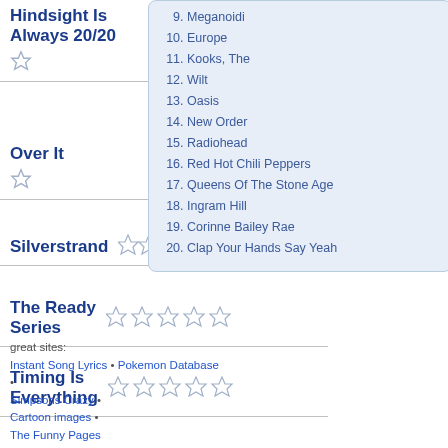9. Meganoidi
10. Europe
11. Kooks, The
12. Wilt
13. Oasis
14. New Order
15. Radiohead
16. Red Hot Chili Peppers
17. Queens Of The Stone Age
18. Ingram Hill
19. Corinne Bailey Rae
20. Clap Your Hands Say Yeah
Hindsight Is Always 20/20
Over It
Silverstrand
The Ready Series
Timing Is Everything
great sites: Instant Song Lyrics • Pokemon Database • Simpsons Crazy • Cartoon images • The Funny Pages